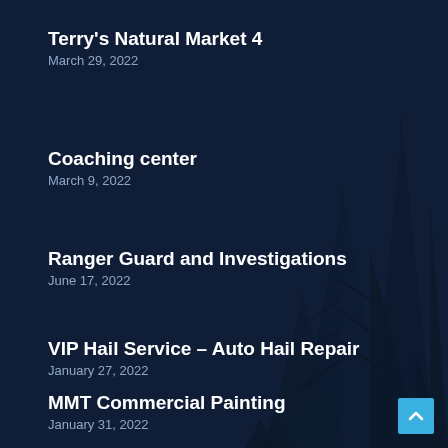Terry's Natural Market 4
March 29, 2022
Coaching center
March 9, 2022
Ranger Guard and Investigations
June 17, 2022
VIP Hail Service – Auto Hail Repair
January 27, 2022
MMT Commercial Painting
January 31, 2022
[Figure (illustration): Dark navy blue background with silhouette of pine/fir trees in the right portion of the image, creating a forest scene]